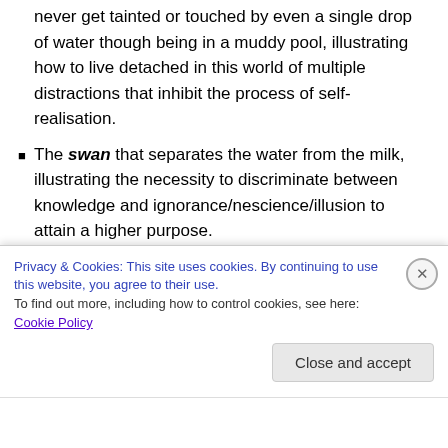never get tainted or touched by even a single drop of water though being in a muddy pool, illustrating how to live detached in this world of multiple distractions that inhibit the process of self-realisation.
The swan that separates the water from the milk, illustrating the necessity to discriminate between knowledge and ignorance/nescience/illusion to attain a higher purpose.
The tortoise that hides and withdraws into its shell immediately and completely under threatening situations and waits for a favourable situation.
Privacy & Cookies: This site uses cookies. By continuing to use this website, you agree to their use. To find out more, including how to control cookies, see here: Cookie Policy